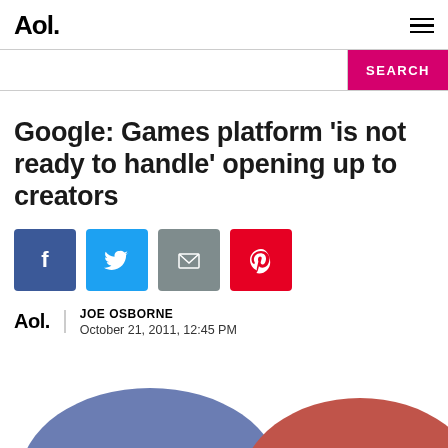Aol.
[Figure (screenshot): Search bar with pink SEARCH button]
Google: Games platform 'is not ready to handle' opening up to creators
[Figure (infographic): Social sharing icons: Facebook, Twitter, Email, Pinterest]
JOE OSBORNE
October 21, 2011, 12:45 PM
[Figure (illustration): Partial illustration showing blue and red mountain/hill shapes at bottom of page]